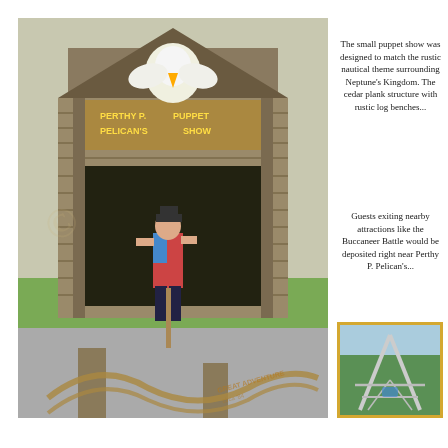[Figure (photo): Perthy P. Pelican's Puppet Show wooden cabin structure with a person standing in front, with nautical rope props in foreground. Sign reads 'PERTHY P. PELICAN'S PUPPET SHOW' with a pelican mascot on top. Great Adventures logo watermark visible.]
The small puppet show was designed to match the rustic nautical theme surrounding Neptune's Kingdom. The cedar plank structure with rustic log benches...
Guests exiting nearby attractions like the Buccaneer Battle would be deposited right near Perthy P. Pelican's...
[Figure (photo): Small photo showing what appears to be a ride structure with metal frame against trees, bordered in gold/yellow.]